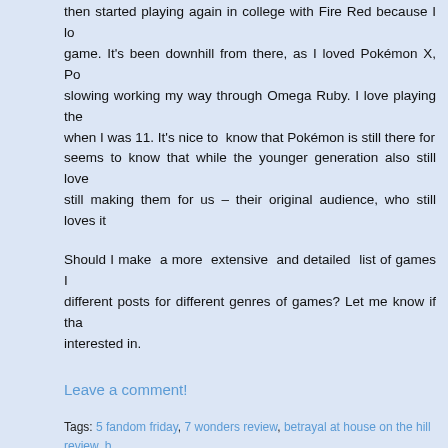then started playing again in college with Fire Red because I loved the game. It's been downhill from there, as I loved Pokémon X, Po... slowing working my way through Omega Ruby. I love playing the... when I was 11. It's nice to know that Pokémon is still there for... seems to know that while the younger generation also still love... still making them for us – their original audience, who still loves it
Should I make a more extensive and detailed list of games I... different posts for different genres of games? Let me know if tha... interested in.
Leave a comment!
Tags: 5 fandom friday, 7 wonders review, betrayal at house on the hill review, b... to play, ladies and gentlemen review, pokémon, what board games should I pl...
[Figure (illustration): A decorative divider with two horizontal purple/lavender lines on either side of a pink crown icon in the center]
5 Magical Items I Would L